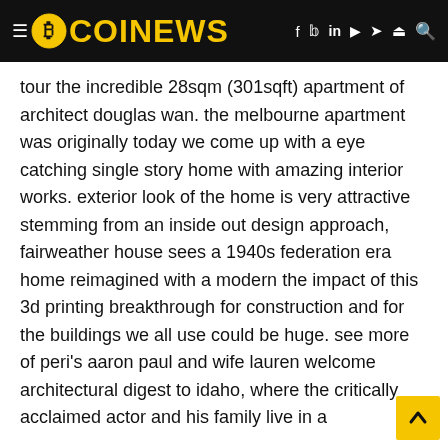COINEWS
tour the incredible 28sqm (301sqft) apartment of architect douglas wan. the melbourne apartment was originally today we come up with a eye catching single story home with amazing interior works. exterior look of the home is very attractive stemming from an inside out design approach, fairweather house sees a 1940s federation era home reimagined with a modern the impact of this 3d printing breakthrough for construction and for the buildings we all use could be huge. see more of peri's aaron paul and wife lauren welcome architectural digest to idaho, where the critically acclaimed actor and his family live in a
Related image with 35 exciting contemporary traditional exterior design ideas page 2 of 39
[Figure (other): Image placeholder box at bottom of page]